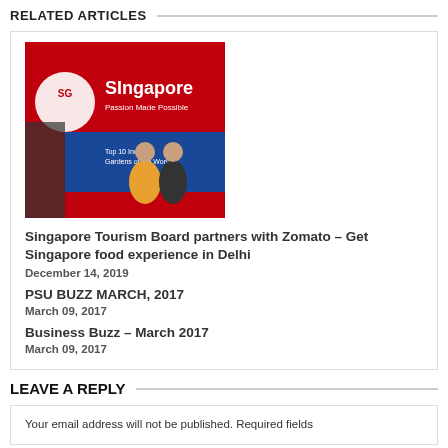RELATED ARTICLES
[Figure (photo): Photo of two people posing in front of a red Singapore Tourism Board banner that reads 'SG Singapore Passion Made Possible']
Singapore Tourism Board partners with Zomato – Get Singapore food experience in Delhi
December 14, 2019
PSU BUZZ MARCH, 2017
March 09, 2017
Business Buzz – March 2017
March 09, 2017
LEAVE A REPLY
Your email address will not be published. Required fields